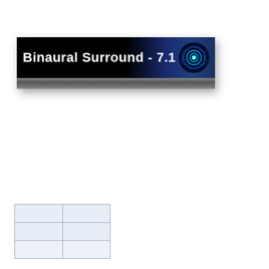[Figure (illustration): Binaural Surround 7.1 banner with black and dark blue gradient background, white bold text reading 'Binaural Surround - 7.1', and a circular blue glowing logo on the right. Below the main banner is a metallic grey strip.]
|  |  |
|  |  |
|  |  |